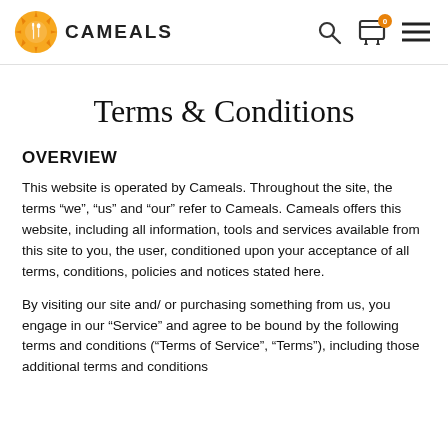CAMEALS
Terms & Conditions
OVERVIEW
This website is operated by Cameals. Throughout the site, the terms “we”, “us” and “our” refer to Cameals. Cameals offers this website, including all information, tools and services available from this site to you, the user, conditioned upon your acceptance of all terms, conditions, policies and notices stated here.
By visiting our site and/​or purchasing something from us, you engage in our “Service” and agree to be bound by the following terms and conditions (“Terms of Service”, “Terms”), including those additional terms and conditions